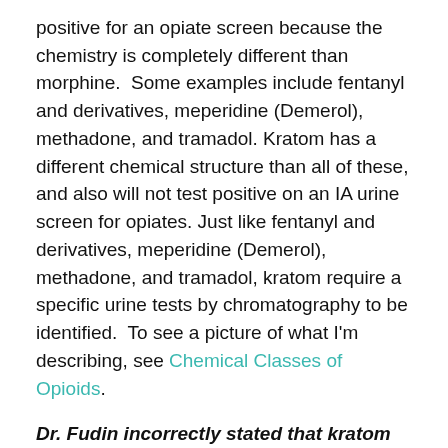positive for an opiate screen because the chemistry is completely different than morphine.  Some examples include fentanyl and derivatives, meperidine (Demerol), methadone, and tramadol. Kratom has a different chemical structure than all of these, and also will not test positive on an IA urine screen for opiates. Just like fentanyl and derivatives, meperidine (Demerol), methadone, and tramadol, kratom require a specific urine tests by chromatography to be identified.  To see a picture of what I'm describing, see Chemical Classes of Opioids.
Dr. Fudin incorrectly stated that kratom can interact with other drugs and cause agitation, heart attack and stroke.
In order to understand why these are very real possibilities, one must understand the pharmacology